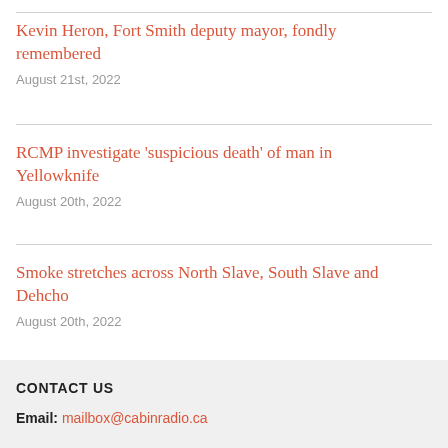Kevin Heron, Fort Smith deputy mayor, fondly remembered
August 21st, 2022
RCMP investigate ‘suspicious death’ of man in Yellowknife
August 20th, 2022
Smoke stretches across North Slave, South Slave and Dehcho
August 20th, 2022
CONTACT US
Email: mailbox@cabinradio.ca